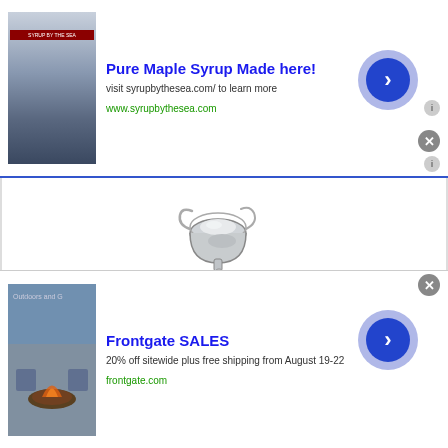[Figure (screenshot): Advertisement banner for 'Pure Maple Syrup Made here!' by syrupbythesea.com, with a snowy cabin image on the left, ad text in the center, and a blue arrow button on the right with a close button.]
[Figure (photo): Product photo of OXO Good Grips Stainless Steel Ladle on white background]
OXO Good Grips Stainless Steel Ladle
[Figure (logo): Amazon Prime logo with orange checkmark and italic Prime text]
[Figure (screenshot): VIEW PRODUCT button in gold/yellow color]
[Figure (screenshot): Advertisement banner for 'Frontgate SALES' with patio furniture image, '20% off sitewide plus free shipping from August 19-22', frontgate.com link, and blue arrow button with close button.]